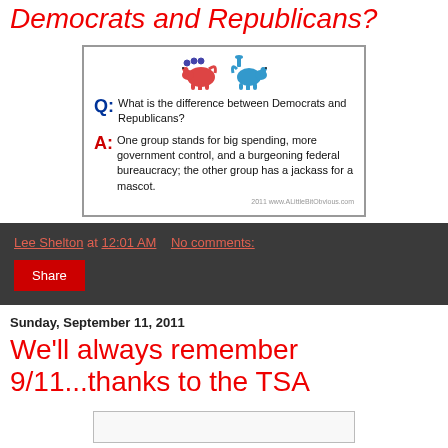Democrats and Republicans?
[Figure (illustration): Comic image with Republican elephant (red) and Democrat donkey (blue) mascots. Q: What is the difference between Democrats and Republicans? A: One group stands for big spending, more government control, and a burgeoning federal bureaucracy; the other group has a jackass for a mascot. Copyright 2011 www.ALittleBitObvious.com]
Lee Shelton at 12:01 AM   No comments:
Share
Sunday, September 11, 2011
We'll always remember 9/11...thanks to the TSA